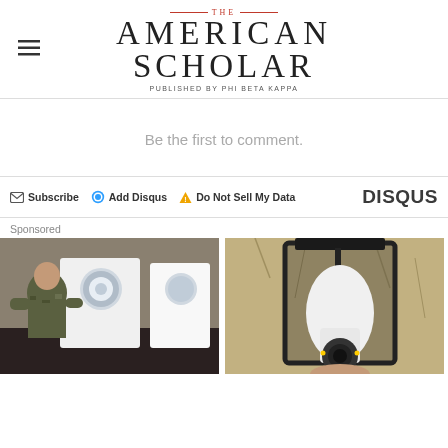THE AMERICAN SCHOLAR — PUBLISHED BY PHI BETA KAPPA
Be the first to comment.
Subscribe  Add Disqus  Do Not Sell My Data  DISQUS
Sponsored
[Figure (photo): Soldier in camouflage uniform loading laundry into a washing machine in a laundromat]
[Figure (photo): A light bulb security camera installed in an outdoor wall lantern fixture]